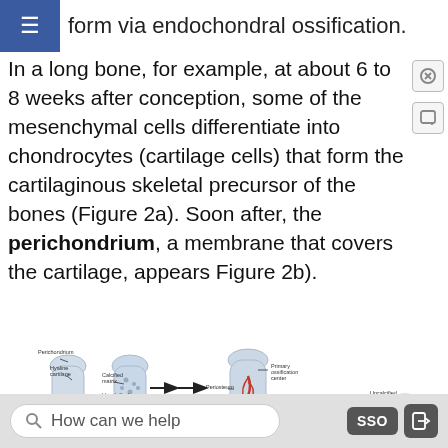form via endochondral ossification.
In a long bone, for example, at about 6 to 8 weeks after conception, some of the mesenchymal cells differentiate into chondrocytes (cartilage cells) that form the cartilaginous skeletal precursor of the bones (Figure 2a). Soon after, the perichondrium, a membrane that covers the cartilage, appears Figure 2b).
[Figure (illustration): Diagram showing endochondral ossification stages (a) and (b). Stage (a) shows hyaline cartilage with perichondrium labeled, calcified matrix, and uncalcified matrix, with an arrow pointing right. Stage (b) shows periosteum, spongy bone, nutrient artery, primary ossification center, calcified matrix, and uncalcified matrix labels.]
How can we help  SSO